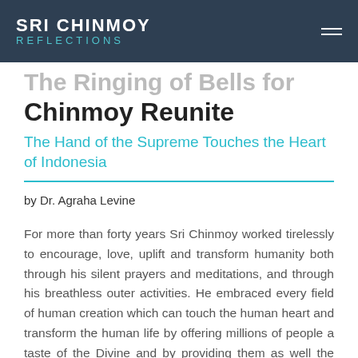SRI CHINMOY REFLECTIONS
The Ringing of Bells for and Sri Chinmoy Reunite
The Hand of the Supreme Touches the Heart of Indonesia
by Dr. Agraha Levine
For more than forty years Sri Chinmoy worked tirelessly to encourage, love, uplift and transform humanity both through his silent prayers and meditations, and through his breathless outer activities. He embraced every field of human creation which can touch the human heart and transform the human life by offering millions of people a taste of the Divine and by providing them as well the means to become the beautiful and all...